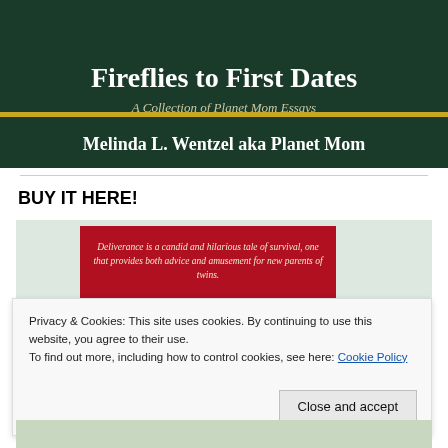[Figure (illustration): Book cover for 'Fireflies to First Dates: A Collection of Planet Mom Essays' by Melinda L. Wentzel aka Planet Mom. Dark green background with gold separator bar, white serif text.]
BUY IT HERE!
[Figure (illustration): Red promotional banner on light green background with italic text: 'Deliverance is a candid and hilarious tale of survival, one that provides both advice and amusement for new parents of twins.']
Privacy & Cookies: This site uses cookies. By continuing to use this website, you agree to their use.
To find out more, including how to control cookies, see here: Cookie Policy
Close and accept